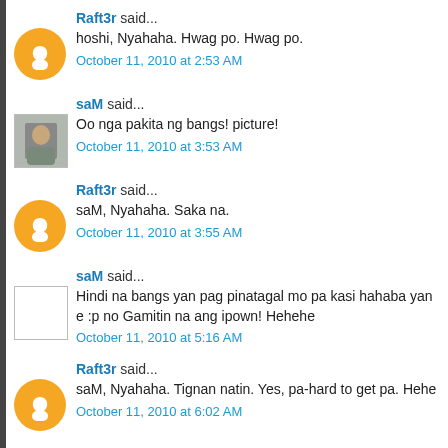Raft3r said...
hoshi, Nyahaha. Hwag po. Hwag po.
October 11, 2010 at 2:53 AM
saM said...
Oo nga pakita ng bangs! picture!
October 11, 2010 at 3:53 AM
Raft3r said...
saM, Nyahaha. Saka na.
October 11, 2010 at 3:55 AM
saM said...
Hindi na bangs yan pag pinatagal mo pa kasi hahaba yan e :p no Gamitin na ang ipown! Hehehe
October 11, 2010 at 5:16 AM
Raft3r said...
saM, Nyahaha. Tignan natin. Yes, pa-hard to get pa. Hehe
October 11, 2010 at 6:02 AM